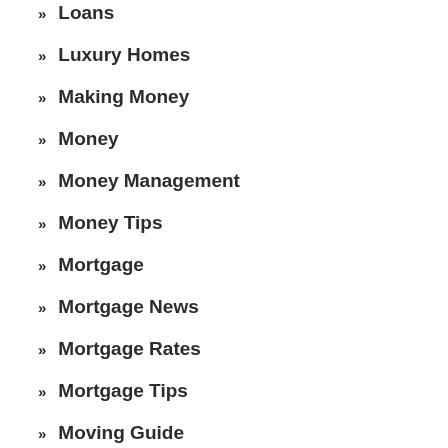Loans
Luxury Homes
Making Money
Money
Money Management
Money Tips
Mortgage
Mortgage News
Mortgage Rates
Mortgage Tips
Moving Guide
Personal Finance